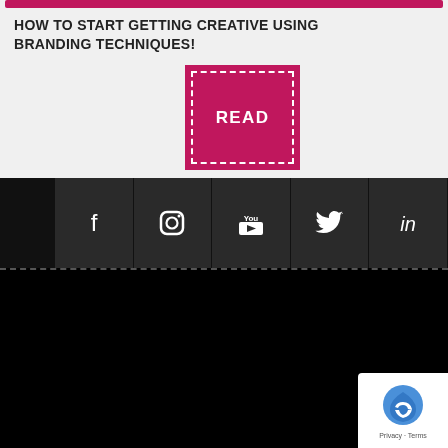HOW TO START GETTING CREATIVE USING BRANDING TECHNIQUES!
[Figure (other): Pink 'READ' button with dashed white border outline on magenta/pink background]
[Figure (other): Social media icon bar with Facebook, Instagram, YouTube, Twitter, LinkedIn icons on dark background]
SL BLACK LABEL
HEADWEAR
ABOUT
FAQ
MEDIA
BLOG
CONTACT
YOUR ORDER
HOW TO ORDER
DELIVERY INFORMATION
IMPORTANT
OUR ETHICAL POLICY
PRIVACY POLICY
TERMS